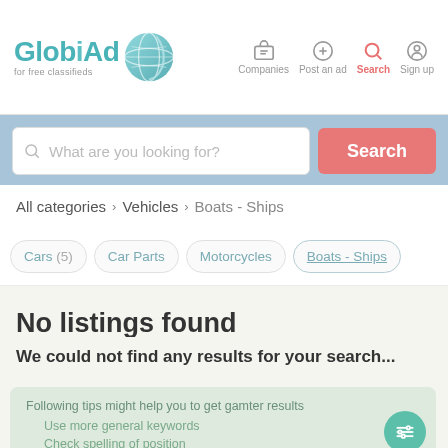[Figure (logo): GlobiAd logo with globe icon and tagline 'for free classifieds']
[Figure (infographic): Navigation icons: Companies (briefcase), Post an ad (plus circle), Search (magnifying glass, red/active), Sign up (person circle)]
[Figure (screenshot): Search bar with placeholder 'What are you looking for?' and red Search button]
All categories > Vehicles > Boats - Ships
Cars (5)   Car Parts   Motorcycles   Boats - Ships
No listings found
We could not find any results for your search...
Following tips might help you to get gamter results
Use more general keywords
Check spelling of position